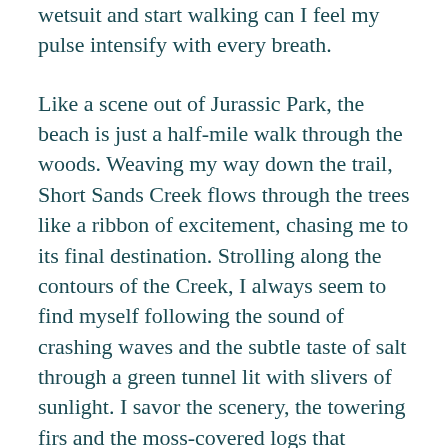wetsuit and start walking can I feel my pulse intensify with every breath.
Like a scene out of Jurassic Park, the beach is just a half-mile walk through the woods. Weaving my way down the trail, Short Sands Creek flows through the trees like a ribbon of excitement, chasing me to its final destination. Strolling along the contours of the Creek, I always seem to find myself following the sound of crashing waves and the subtle taste of salt through a green tunnel lit with slivers of sunlight. I savor the scenery, the towering firs and the moss-covered logs that welcome me every step of the way.
The very first time I crossed the bridge and saw the ocean waves crashing into the desolate shoreline through the trees, I stopped dead in my